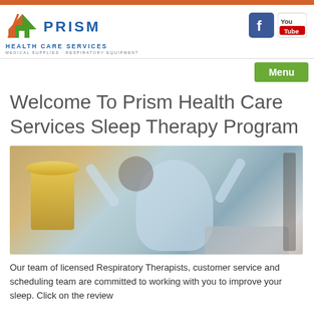[Figure (logo): Prism Health Care Services logo with house icon]
[Figure (photo): Older woman with short grey hair stretching arms up joyfully in bed, wearing light blue top, with a gold lamp visible]
Welcome To Prism Health Care Services Sleep Therapy Program
Our team of licensed Respiratory Therapists, customer service and scheduling team are committed to working with you to improve your sleep.  Click on the review